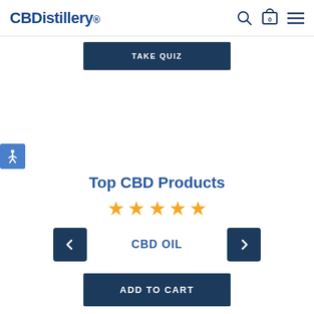CBDistillery® — navigation bar with search, cart (0), and menu icons
TAKE QUIZ
[Figure (other): Accessibility icon (wheelchair/person symbol) in blue square on left edge]
Top CBD Products
[Figure (other): Five orange star rating icons]
CBD OIL
ADD TO CART